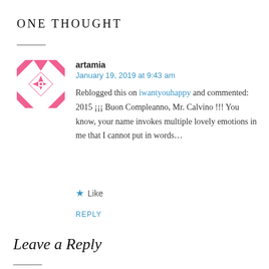ONE THOUGHT
artamia
January 19, 2019 at 9:43 am

Reblogged this on iwantyouhappy and commented:
2015 ¡¡¡ Buon Compleanno, Mr. Calvino !!! You know, your name invokes multiple lovely emotions in me that I cannot put in words…
★ Like
REPLY
Leave a Reply